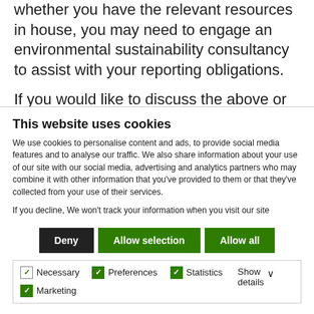whether you have the relevant resources in house, you may need to engage an environmental sustainability consultancy to assist with your reporting obligations.
If you would like to discuss the above or would like an introduction to environmental sustainability
This website uses cookies
We use cookies to personalise content and ads, to provide social media features and to analyse our traffic. We also share information about your use of our site with our social media, advertising and analytics partners who may combine it with other information that you've provided to them or that they've collected from your use of their services.
If you decline, We won't track your information when you visit our site
Deny | Allow selection | Allow all
Necessary | Preferences | Statistics | Marketing | Show details